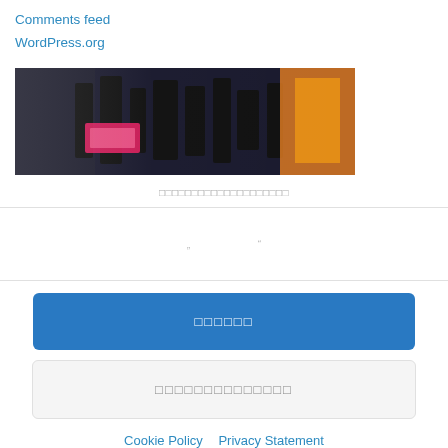Comments feed
WordPress.org
[Figure (photo): A blurry close-up photo showing large dark letters/numbers on a light background with pink and orange elements]
□□□□□□□□□□□□□□□□□□□□
" "
□□□□□□ (blue button)
□□□□□□□□□□□□□□ (gray button)
Cookie Policy   Privacy Statement